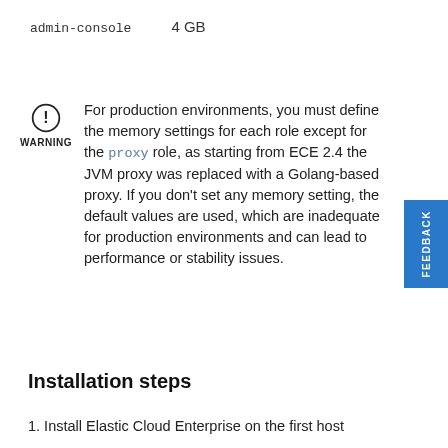admin-console    4 GB
WARNING
For production environments, you must define the memory settings for each role except for the proxy role, as starting from ECE 2.4 the JVM proxy was replaced with a Golang-based proxy. If you don't set any memory setting, the default values are used, which are inadequate for production environments and can lead to performance or stability issues.
Installation steps
1. Install Elastic Cloud Enterprise on the first host